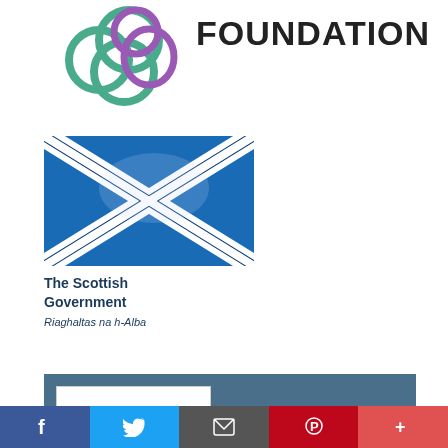[Figure (logo): Interlaced rings logo (teal and purple) with FOUNDATION text to the right]
[Figure (logo): The Scottish Government logo with Saltire flag and text 'The Scottish Government / Riaghaltas na h-Alba']
[Figure (logo): OSCR Scottish Charity Regulator badge showing 'Registered SCIO SC047892' on dark teal background]
This website uses cookies to ensure you get the best experience on our website.
Our partners
Decline   Got it!
[Figure (other): Social media footer bar with Facebook, Twitter, email, Pinterest, and more icons]